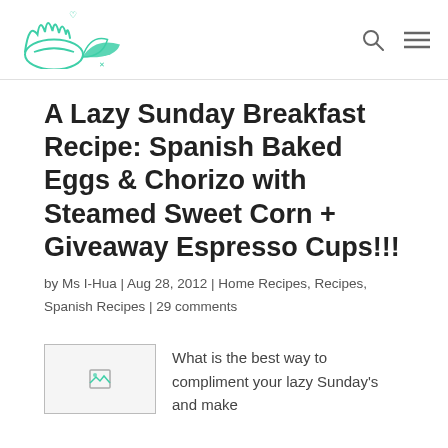[Figure (logo): Stylized teal/green logo with cartoon character (books as eyebrows, open book, heart symbol) for a food blog]
A Lazy Sunday Breakfast Recipe: Spanish Baked Eggs & Chorizo with Steamed Sweet Corn + Giveaway Espresso Cups!!!
by Ms I-Hua | Aug 28, 2012 | Home Recipes, Recipes, Spanish Recipes | 29 comments
[Figure (photo): Small thumbnail image placeholder]
What is the best way to compliment your lazy Sunday's and make